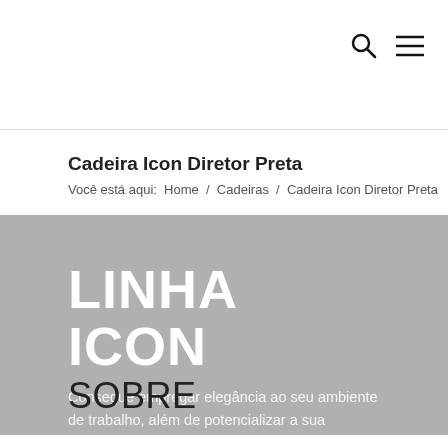[search icon] [menu icon]
Cadeira Icon Diretor Preta
Você está aqui:  Home  /  Cadeiras  /  Cadeira Icon Diretor Preta
[Figure (other): Gray banner image with text 'LINHA ICON' in large white bold letters and subtitle 'Consegue empregar elegância ao seu ambiente de trabalho, além de potencializar a sua produtividade.']
SOBRE